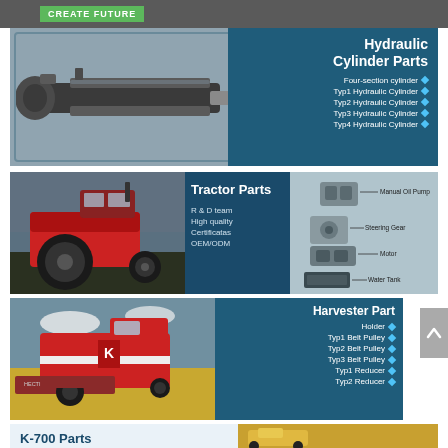CREATE FUTURE
Hydraulic Cylinder Parts
[Figure (photo): Hydraulic cylinder component photo]
Four-section cylinder
Typ1 Hydraulic Cylinder
Typ2 Hydraulic Cylinder
Typ3 Hydraulic Cylinder
Typ4 Hydraulic Cylinder
Tractor Parts
[Figure (photo): Red tractor in field]
R & D team
High quality
Certificatas
OEM/ODM
[Figure (schematic): Tractor parts diagram showing Manual Oil Pump, Steering Gear, Motor, Water Tank]
Harvester Part
[Figure (photo): Combine harvester in field]
Holder
Typ1 Belt Pulley
Typ2 Belt Pulley
Typ3 Belt Pulley
Typ1 Reducer
Typ2 Reducer
K-700 Parts